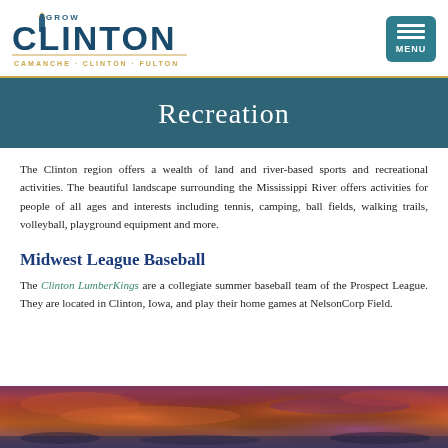GROW CLINTON — CAMANCHE · CLINTON · FULTON
Recreation
The Clinton region offers a wealth of land and river-based sports and recreational activities. The beautiful landscape surrounding the Mississippi River offers activities for people of all ages and interests including tennis, camping, ball fields, walking trails, volleyball, playground equipment and more.
Midwest League Baseball
The Clinton LumberKings are a collegiate summer baseball team of the Prospect League. They are located in Clinton, Iowa, and play their home games at NelsonCorp Field.
[Figure (photo): Aerial or landscape photo with dramatic orange, purple, and pink sunset sky, likely over the Mississippi River area near Clinton, Iowa.]